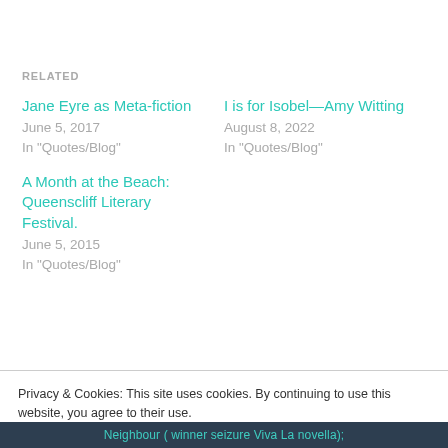RELATED
Jane Eyre as Meta-fiction
June 5, 2017
In "Quotes/Blog"
I is for Isobel—Amy Witting
August 8, 2022
In "Quotes/Blog"
A Month at the Beach: Queenscliff Literary Festival.
June 5, 2015
In "Quotes/Blog"
Privacy & Cookies: This site uses cookies. By continuing to use this website, you agree to their use.
To find out more, including how to control cookies, see here: Cookie Policy
Neighbour ( winner seizure Viva La novella);